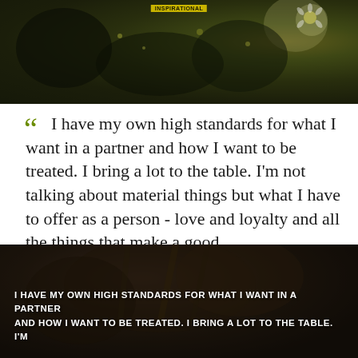[Figure (photo): Dark nature photo with flowers/field in background, dark green and brown tones with daisy visible at top right]
“I have my own high standards for what I want in a partner and how I want to be treated. I bring a lot to the table. I’m not talking about material things but what I have to offer as a person - love and loyalty and all the things that make a good relationship.” — Jennifer Lopez
[Figure (photo): Dark nature/abstract photo with text overlay: I HAVE MY OWN HIGH STANDARDS FOR WHAT I WANT IN A PARTNER AND HOW I WANT TO BE TREATED. I BRING A LOT TO THE TABLE. I'M]